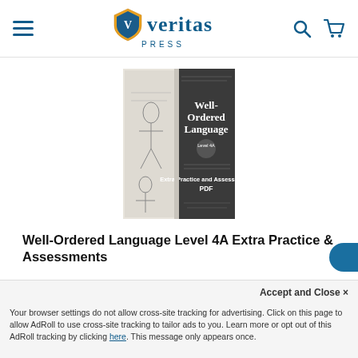[Figure (logo): Veritas Press logo with shield icon and text 'veritas PRESS']
[Figure (photo): Book cover for Well-Ordered Language Level 4A Extra Practice and Assessments PDF - grayscale book cover with illustrated scene on left half and title text on dark right half]
Well-Ordered Language Level 4A Extra Practice & Assessments
The Well-Ordered Language Level 4A Extra Practice & Assessments PDF (referred to throughout the book as “downloadable PDF” or “PDF”) is a 99-page supplemental resource for those who want more! It inclu...
Your browser settings do not allow cross-site tracking for advertising. Click on this page to allow AdRoll to use cross-site tracking to tailor ads to you. Learn more or opt out of this AdRoll tracking by clicking here. This message only appears once.